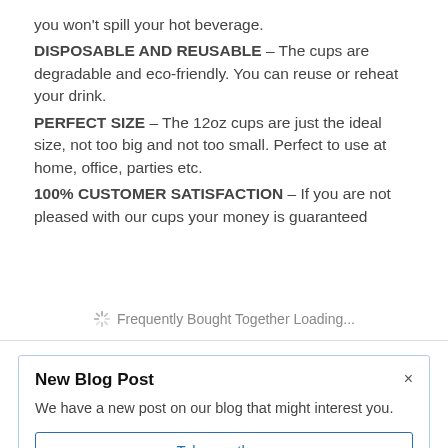you won't spill your hot beverage.
DISPOSABLE AND REUSABLE – The cups are degradable and eco-friendly. You can reuse or reheat your drink.
PERFECT SIZE – The 12oz cups are just the ideal size, not too big and not too small. Perfect to use at home, office, parties etc.
100% CUSTOMER SATISFACTION – If you are not pleased with our cups your money is guaranteed
Frequently Bought Together Loading...
New Blog Post
We have a new post on our blog that might interest you.
Take me there